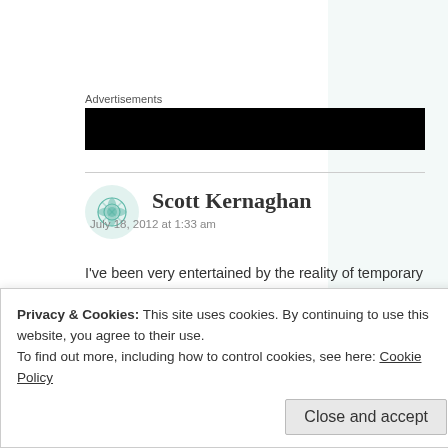Advertisements
[Figure (other): Black advertisement banner]
Scott Kernaghan
July 18, 2012 at 1:33 am
I've been very entertained by the reality of temporary and quickly outdated pieces of technology, being used to support and repair the more durable and enduring technology that the new...
Privacy & Cookies: This site uses cookies. By continuing to use this website, you agree to their use.
To find out more, including how to control cookies, see here: Cookie Policy
Close and accept